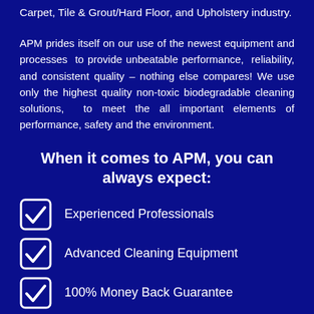Carpet, Tile & Grout/Hard Floor, and Upholstery industry.
APM prides itself on our use of the newest equipment and processes to provide unbeatable performance, reliability, and consistent quality – nothing else compares! We use only the highest quality non-toxic biodegradable cleaning solutions, to meet the all important elements of performance, safety and the environment.
When it comes to APM, you can always expect:
Experienced Professionals
Advanced Cleaning Equipment
100% Money Back Guarantee
IICRC Certified Technicians